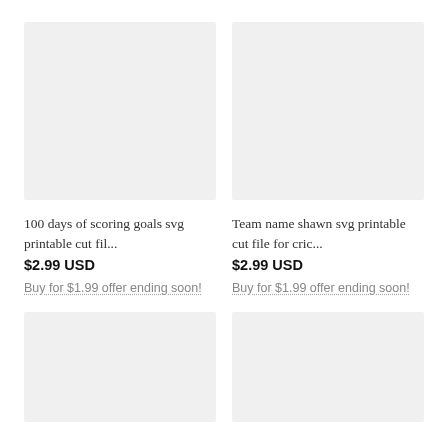[Figure (photo): Product image placeholder - light gray rectangle for '100 days of scoring goals svg']
100 days of scoring goals svg printable cut fil...
$2.99 USD
Buy for $1.99 offer ending soon!
[Figure (photo): Product image placeholder - light gray rectangle for 'Team name shawn svg']
Team name shawn svg printable cut file for cric...
$2.99 USD
Buy for $1.99 offer ending soon!
[Figure (photo): Product image placeholder - light gray rectangle, bottom left]
[Figure (photo): Product image placeholder - light gray rectangle, bottom right]